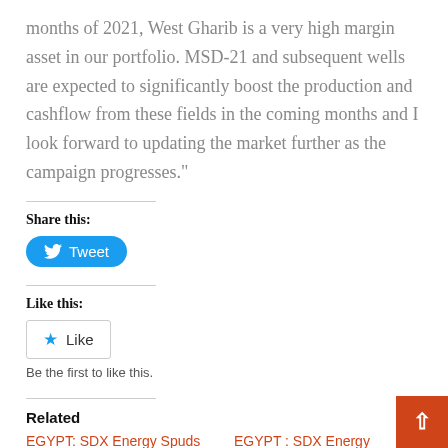months of 2021, West Gharib is a very high margin asset in our portfolio. MSD-21 and subsequent wells are expected to significantly boost the production and cashflow from these fields in the coming months and I look forward to updating the market further as the campaign progresses.”
Share this:
[Figure (other): Twitter Tweet button - blue rounded rectangle with bird icon and 'Tweet' text]
Like this:
[Figure (other): Like button - white rectangle with border, star icon and 'Like' text]
Be the first to like this.
Related
EGYPT: SDX Energy Spuds MSD-23 infill
EGYPT : SDX Energy Completion Of Drilling